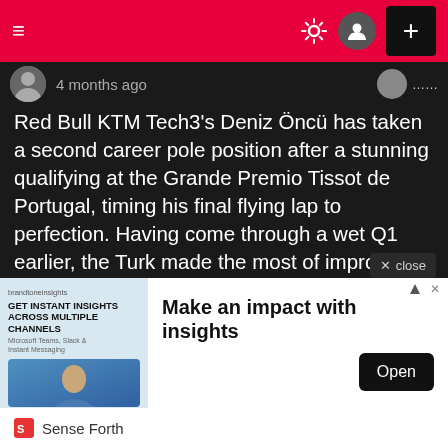Navigation bar with hamburger menu, sun/settings icon, user avatar, and plus button
4 months ago
Red Bull KTM Tech3's Deniz Öncü has taken a second career pole position after a stunning qualifying at the Grande Premio Tissot de Portugal, timing his final flying lap to perfection. Having come through a wet Q1 earlier, the Turk made the most of improving track conditions to take top spot as the chequered flag came out and, in doing so, denied both Mario Aji (Honda Team Asia) and Lorenzo Fellon (SIC58 Squadra Corse) debut poles.
[Figure (screenshot): Advertisement banner: Make an impact with insights – Sense Forth, with Open button]
Sense Forth